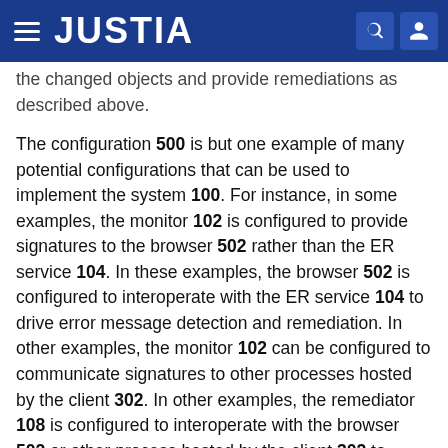JUSTIA
the changed objects and provide remediations as described above.
The configuration 500 is but one example of many potential configurations that can be used to implement the system 100. For instance, in some examples, the monitor 102 is configured to provide signatures to the browser 502 rather than the ER service 104. In these examples, the browser 502 is configured to interoperate with the ER service 104 to drive error message detection and remediation. In other examples, the monitor 102 can be configured to communicate signatures to other processes hosted by the client 302. In other examples, the remediator 108 is configured to interoperate with the browser 502 or other process hosted by the client 302 to provide remediations. As such, the examples disclosed herein are not limited to the particular configuration 500 and other configurations are